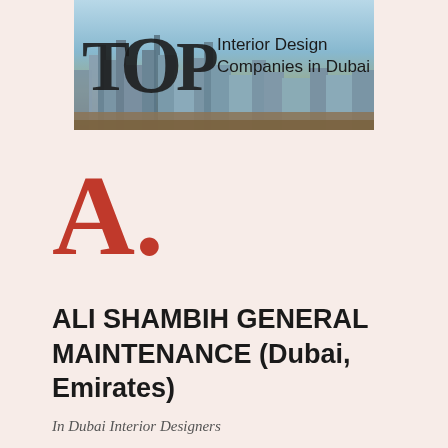[Figure (illustration): Banner image with Dubai skyline in background and large bold text 'TOP Interior Design Companies in Dubai']
A.
ALI SHAMBIH GENERAL MAINTENANCE (Dubai, Emirates)
In Dubai Interior Designers